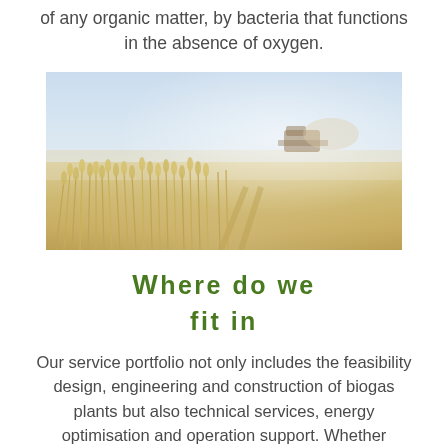of any organic matter, by bacteria that functions in the absence of oxygen.
[Figure (photo): A wheat field with golden stalks in the foreground and a harvesting machine visible in the background under a hazy sky.]
WHERE DO WE FIT IN
Our service portfolio not only includes the feasibility design, engineering and construction of biogas plants but also technical services, energy optimisation and operation support. Whether